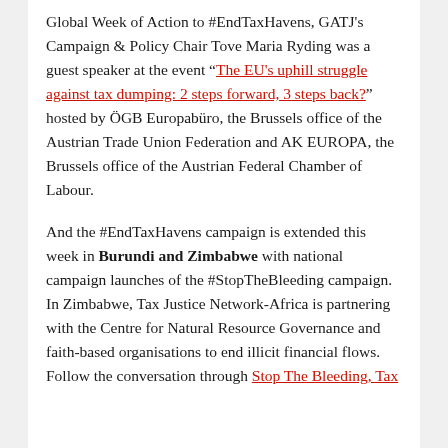Global Week of Action to #EndTaxHavens, GATJ's Campaign & Policy Chair Tove Maria Ryding was a guest speaker at the event "The EU's uphill struggle against tax dumping: 2 steps forward, 3 steps back?" hosted by ÖGB Europabüro, the Brussels office of the Austrian Trade Union Federation and AK EUROPA, the Brussels office of the Austrian Federal Chamber of Labour.
And the #EndTaxHavens campaign is extended this week in Burundi and Zimbabwe with national campaign launches of the #StopTheBleeding campaign. In Zimbabwe, Tax Justice Network-Africa is partnering with the Centre for Natural Resource Governance and faith-based organisations to end illicit financial flows. Follow the conversation through Stop The Bleeding, Tax...